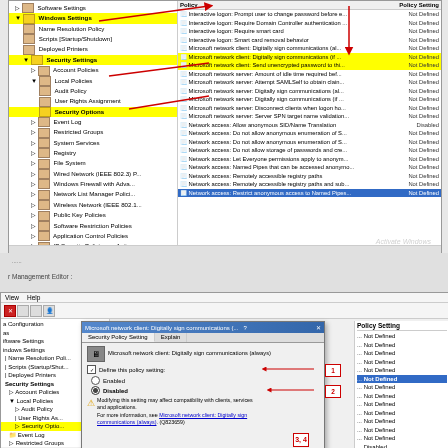[Figure (screenshot): Windows Group Policy Management Editor showing Security Settings tree with Security Options selected, and right panel listing Microsoft network client/server policies with Not Defined values. Red arrows pointing from tree items to highlighted policy entries.]
[Figure (screenshot): Windows Group Policy Management Editor lower portion showing policy dialog for 'Microsoft network client: Digitally sign communications (always)' with Security Policy Setting tab, Define this policy setting checkbox checked, Enabled/Disabled radio buttons with Disabled selected (labeled 1 and 2 with red arrows), and warning about compatibility.]